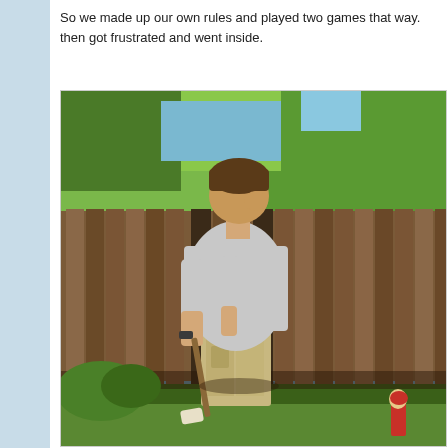So we made up our own rules and played two games that way. then got frustrated and went inside.
[Figure (photo): A man in a light grey t-shirt and khaki cargo shorts stands in a backyard, holding a croquet mallet at his side. He is looking downward. Behind him is a tall wooden fence and lush green trees visible above it. In the bottom right corner, a garden gnome figurine is partially visible.]